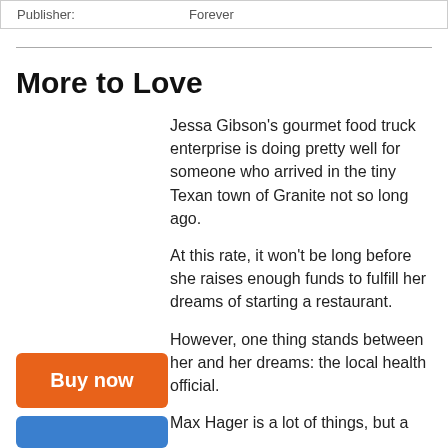| Publisher: | Forever |
More to Love
Jessa Gibson's gourmet food truck enterprise is doing pretty well for someone who arrived in the tiny Texan town of Granite not so long ago.
At this rate, it won't be long before she raises enough funds to fulfill her dreams of starting a restaurant.
However, one thing stands between her and her dreams: the local health official.
Max Hager is a lot of things, but a
[Figure (other): Orange 'Buy now' button]
[Figure (other): Blue button (partially visible)]